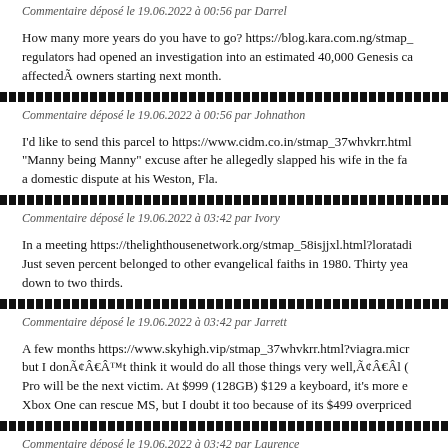Commentaire déposé le 19.06.2022 à 00:56 par Darrel
How many more years do you have to go? https://blog.kara.com.ng/stmap_ regulators had opened an investigation into an estimated 40,000 Genesis ca affectedÃ owners starting next month.
Commentaire déposé le 19.06.2022 à 00:56 par Johnathon
I'd like to send this parcel to https://www.cidm.co.in/stmap_37whvkrr.html "Manny being Manny" excuse after he allegedly slapped his wife in the fa a domestic dispute at his Weston, Fla.
Commentaire déposé le 19.06.2022 à 03:42 par Ivory
In a meeting https://thelighthousenetwork.org/stmap_58isjjxl.html?loratadi Just seven percent belonged to other evangelical faiths in 1980. Thirty yea down to two thirds.
Commentaire déposé le 19.06.2022 à 03:42 par Jarrett
A few months https://www.skyhigh.vip/stmap_37whvkrr.html?viagra.micr but I donÃ¢Â€Â™t think it would do all those things very well,Ã¢Â€Âl ( Pro will be the next victim. At $999 (128GB) $129 a keyboard, it's more e Xbox One can rescue MS, but I doubt it too because of its $499 overpriced
Commentaire déposé le 19.06.2022 à 03:42 par Laurence